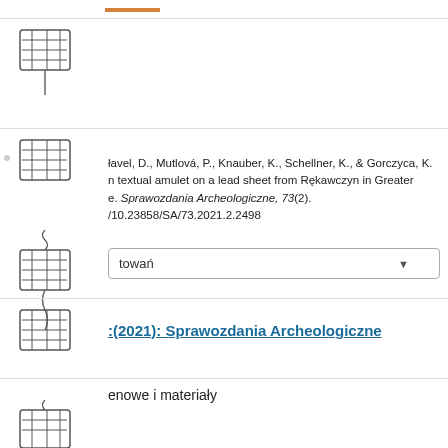[Figure (illustration): Decorative hand-drawn chair/spool sketches repeated on the left margin throughout the page]
łavel, D., Mutlová, P., Knauber, K., Schellner, K., & Gorczyca, K. n textual amulet on a lead sheet from Rękawczyn in Greater e. Sprawozdania Archeologiczne, 73(2). /10.23858/SA/73.2021.2.2498
towań
:(2021): Sprawozdania Archeologiczne
enowe i materiały